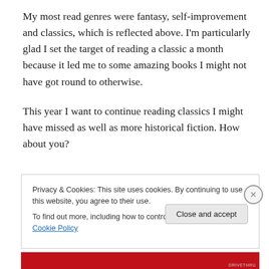My most read genres were fantasy, self-improvement and classics, which is reflected above. I'm particularly glad I set the target of reading a classic a month because it led me to some amazing books I might not have got round to otherwise.
This year I want to continue reading classics I might have missed as well as more historical fiction. How about you?
Privacy & Cookies: This site uses cookies. By continuing to use this website, you agree to their use.
To find out more, including how to control cookies, see here: Cookie Policy